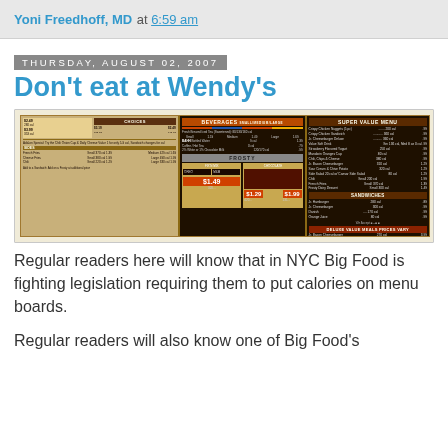Yoni Freedhoff, MD at 6:59 am
Thursday, August 02, 2007
Don't eat at Wendy's
[Figure (photo): Wendy's restaurant menu board showing beverages, Frosty desserts, Super Value Menu items, and sandwiches with calorie counts listed next to prices]
Regular readers here will know that in NYC Big Food is fighting legislation requiring them to put calories on menu boards.
Regular readers will also know one of Big Food's